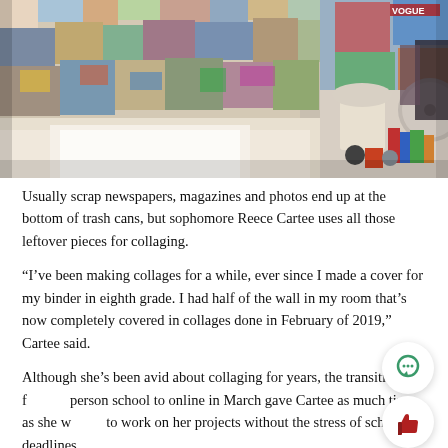[Figure (photo): A teenager's bedroom wall covered in a dense collage of magazine clippings, photos, posters, and colorful images. The bed is partially visible in the foreground, and a lamp, fan, and clothing hang on the right side.]
Usually scrap newspapers, magazines and photos end up at the bottom of trash cans, but sophomore Reece Cartee uses all those leftover pieces for collaging.
“I’ve been making collages for a while, ever since I made a cover for my binder in eighth grade. I had half of the wall in my room that’s now completely covered in collages done in February of 2019,” Cartee said.
Although she’s been avid about collaging for years, the transition from in-person school to online in March gave Cartee as much time as she wanted to work on her projects without the stress of school deadlines.
“I could finish school for the week within the first two days, and afte…